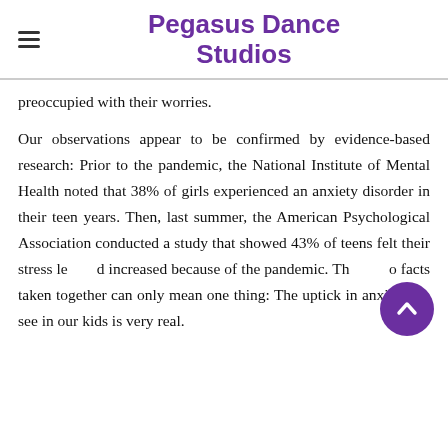Pegasus Dance Studios
preoccupied with their worries.
Our observations appear to be confirmed by evidence-based research: Prior to the pandemic, the National Institute of Mental Health noted that 38% of girls experienced an anxiety disorder in their teen years. Then, last summer, the American Psychological Association conducted a study that showed 43% of teens felt their stress levels had increased because of the pandemic. These two facts taken together can only mean one thing: The uptick in anxiety we see in our kids is very real.